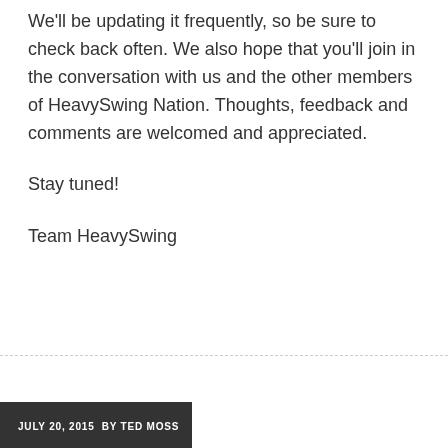We'll be updating it frequently, so be sure to check back often. We also hope that you'll join in the conversation with us and the other members of HeavySwing Nation. Thoughts, feedback and comments are welcomed and appreciated.
Stay tuned!
Team HeavySwing
JULY 20, 2015  BY TED MOSS